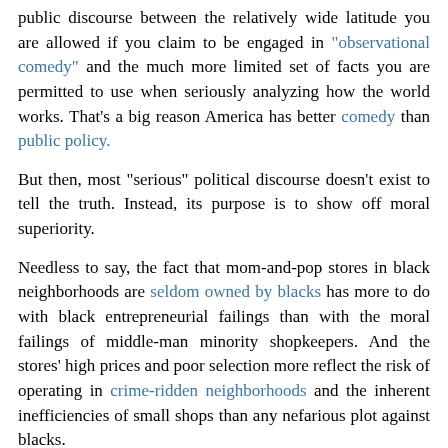public discourse between the relatively wide latitude you are allowed if you claim to be engaged in "observational comedy" and the much more limited set of facts you are permitted to use when seriously analyzing how the world works. That's a big reason America has better comedy than public policy.
But then, most "serious" political discourse doesn't exist to tell the truth. Instead, its purpose is to show off moral superiority.
Needless to say, the fact that mom-and-pop stores in black neighborhoods are seldom owned by blacks has more to do with black entrepreneurial failings than with the moral failings of middle-man minority shopkeepers. And the stores' high prices and poor selection more reflect the risk of operating in crime-ridden neighborhoods and the inherent inefficiencies of small shops than any nefarious plot against blacks.